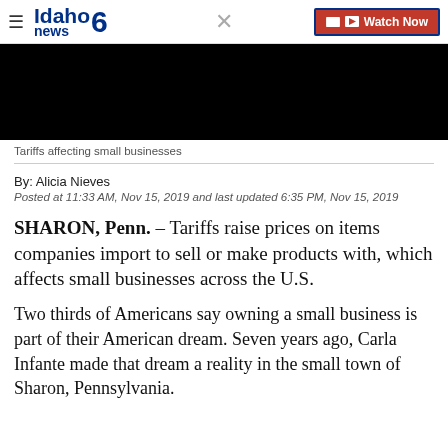Idaho News 6 — Watch Now
[Figure (photo): Black video player area — Tariffs affecting small businesses]
Tariffs affecting small businesses
By: Alicia Nieves
Posted at 11:33 AM, Nov 15, 2019 and last updated 6:35 PM, Nov 15, 2019
SHARON, Penn. – Tariffs raise prices on items companies import to sell or make products with, which affects small businesses across the U.S.
Two thirds of Americans say owning a small business is part of their American dream. Seven years ago, Carla Infante made that dream a reality in the small town of Sharon, Pennsylvania.